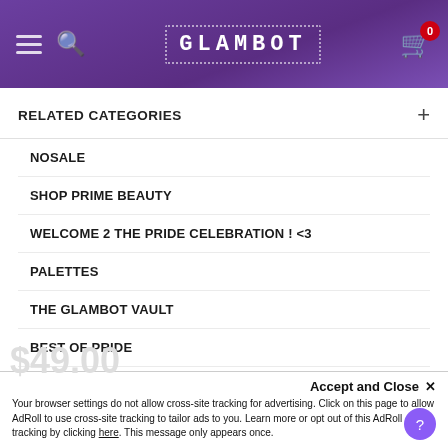GLAMBOT
RELATED CATEGORIES
NOSALE
SHOP PRIME BEAUTY
WELCOME 2 THE PRIDE CELEBRATION ! <3
PALETTES
THE GLAMBOT VAULT
BEST OF PRIDE
WELCOME TO THE SPRING DOORBUSTER EVENT!
NEW
SHOP ALL MOTHER'S DAY
Accept and Close ×
Your browser settings do not allow cross-site tracking for advertising. Click on this page to allow AdRoll to use cross-site tracking to tailor ads to you. Learn more or opt out of this AdRoll tracking by clicking here. This message only appears once.